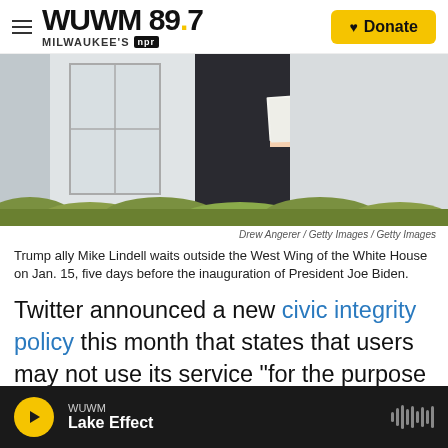WUWM 89.7 Milwaukee's NPR — Donate
[Figure (photo): Person in dark suit holding papers, standing outside West Wing of White House, with hedges in foreground, cropped partial view]
Drew Angerer / Getty Images / Getty Images
Trump ally Mike Lindell waits outside the West Wing of the White House on Jan. 15, five days before the inauguration of President Joe Biden.
Twitter announced a new civic integrity policy this month that states that users may not use its service "for the purpose of manipulating or interfering in the elections or other civic processes."
WUWM Lake Effect